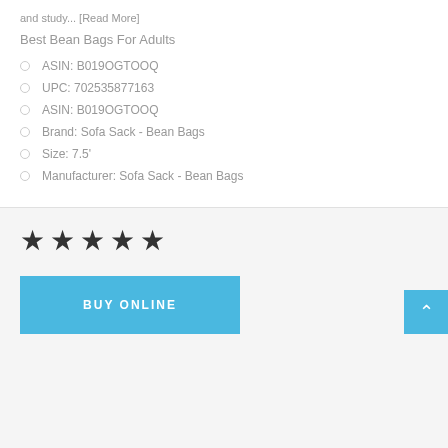and study... [Read More]
Best Bean Bags For Adults
ASIN: B019OGTOOQ
UPC: 702535877163
ASIN: B019OGTOOQ
Brand: Sofa Sack - Bean Bags
Size: 7.5'
Manufacturer: Sofa Sack - Bean Bags
[Figure (other): Five-star rating displayed with filled star icons]
BUY ONLINE